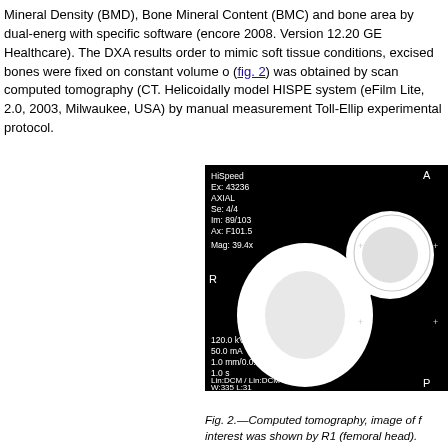Mineral Density (BMD), Bone Mineral Content (BMC) and bone area by dual-energy with specific software (encore 2008. Version 12.20 GE Healthcare). The DXA results order to mimic soft tissue conditions, excised bones were fixed on constant volume o (fig. 2) was obtained by scan computed tomography (CT. Helicoidally model HISPE system (eFilm Lite, 2.0, 2003, Milwaukee, USA) by manual measurement Toll-Ellip experimental protocol.
[Figure (photo): CT axial scan image (computed tomography) of femoral head region. Black background with white bone cross-section. Overlay text shows scan parameters: HiSpeed, Ex: 43236, AXIAL, Se: 4/4, Im: 89/103, Ax: F101.5, Mag: 39.4x, 120.0 kV, 50.0 mA, 1.0 mm/0.0:1Tilt: 0.0, 1.0 s, Lin:DCM / Lin:DCM / Id:D, W:335 L:31. Labels A (top), R (left), P (bottom). Circle labeled R1 indicating region of interest (femoral head).]
Fig. 2.—Computed tomography, image of f interest was shown by R1 (femoral head).